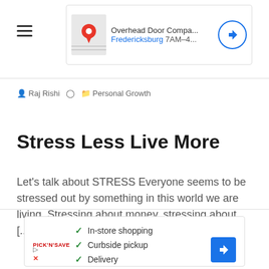[Figure (screenshot): Top advertisement banner showing Overhead Door Company with map thumbnail, 'Overhead Door Compa...' title, 'Fredericksburg 7AM-4...' subtitle in blue, and blue circular navigation button]
[Figure (other): Hamburger menu icon with three horizontal lines]
Raj Rishi  ⊙  Personal Growth
Stress Less Live More
Let's talk about STRESS Everyone seems to be stressed out by something in this world we are living. Stressing about money, stressing about [...]
[Figure (screenshot): Bottom advertisement showing checklist with green checkmarks for 'In-store shopping', 'Curbside pickup', 'Delivery', with a retailer logo and blue diamond navigation button]